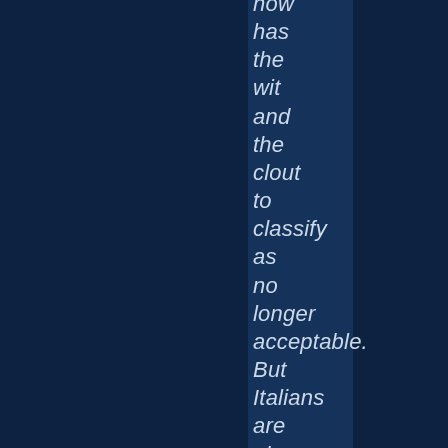how has the wit and the clout to classify as no longer acceptable. But Italians are also superb negotiators, particularly skilled at finding